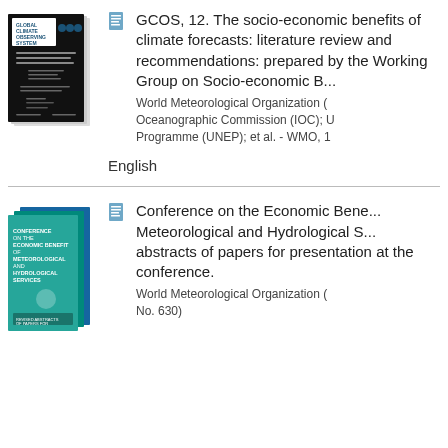[Figure (illustration): Book cover of GCOS-12 socio-economic benefits of climate forecasts document with Global Climate Observing System logo]
GCOS, 12. The socio-economic benefits of climate forecasts: literature review and recommendations: prepared by the Working Group on Socio-economic Benefits of Climate Forecasts. World Meteorological Organization (WMO); Intergovernmental Oceanographic Commission (IOC); United Nations Environment Programme (UNEP); et al. - WMO, 1995
English
[Figure (illustration): Book covers for Conference on the Economic Benefits of Meteorological and Hydrological Services document]
Conference on the Economic Benefits of Meteorological and Hydrological Services: abstracts of papers for presentation at the conference. World Meteorological Organization (WMO). - (WMO ; No. 630)